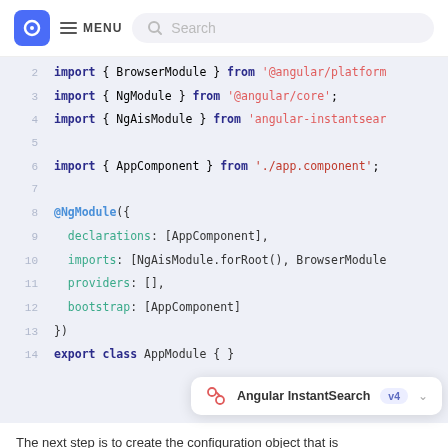[Figure (screenshot): Website header with logo, hamburger menu labeled MENU, and a Search bar]
[Figure (screenshot): Code editor screenshot showing Angular module TypeScript code lines 2-14 with syntax highlighting, and a tooltip showing 'Angular InstantSearch v4']
The next step is to create the configuration object that is